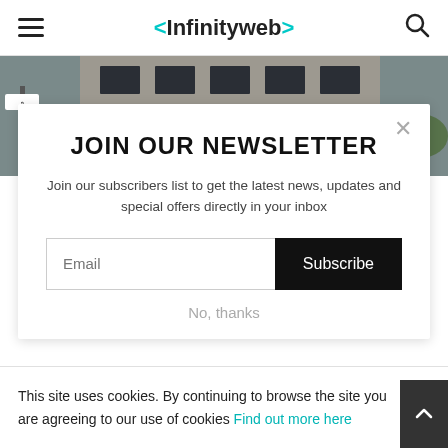Infinityweb
[Figure (photo): Street-level photo of a multi-story urban building facade with large dark windows and street signs visible]
JOIN OUR NEWSLETTER
Join our subscribers list to get the latest news, updates and special offers directly in your inbox
Email | Subscribe
No, thanks
This site uses cookies. By continuing to browse the site you are agreeing to our use of cookies Find out more here